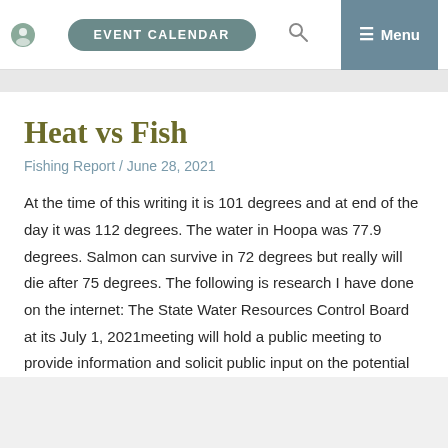EVENT CALENDAR  Menu
Heat vs Fish
Fishing Report / June 28, 2021
At the time of this writing it is 101 degrees and at end of the day it was 112 degrees. The water in Hoopa was 77.9 degrees. Salmon can survive in 72 degrees but really will die after 75 degrees. The following is research I have done on the internet: The State Water Resources Control Board at its July 1, 2021meeting will hold a public meeting to provide information and solicit public input on the potential